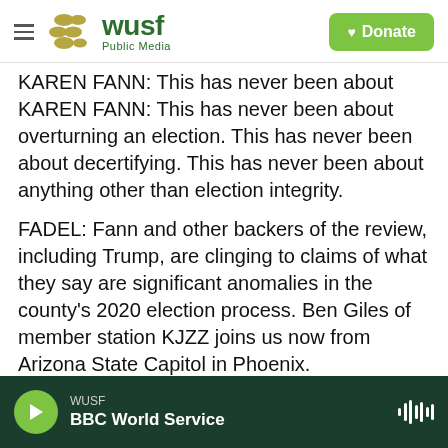WUSF Public Media | Donate
KAREN FANN: This has never been about overturning an election. This has never been about decertifying. This has never been about anything other than election integrity.
FADEL: Fann and other backers of the review, including Trump, are clinging to claims of what they say are significant anomalies in the county's 2020 election process. Ben Giles of member station KJZZ joins us now from Arizona State Capitol in Phoenix.
Hi, Ben.
WUSF | BBC World Service